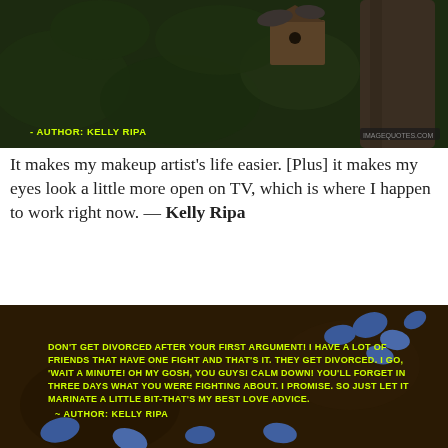[Figure (photo): Dark nature photo with birds on a birdhouse mounted on a tree, with green foliage background. Yellow text overlay reads '- AUTHOR: KELLY RIPA']
It makes my makeup artist's life easier. [Plus] it makes my eyes look a little more open on TV, which is where I happen to work right now. — Kelly Ripa
[Figure (photo): Dark brown background with blue flowers. Yellow bold text overlay reads: DON'T GET DIVORCED AFTER YOUR FIRST ARGUMENT! I HAVE A LOT OF FRIENDS THAT HAVE ONE FIGHT AND THAT'S IT. THEY GET DIVORCED. I GO, 'WAIT A MINUTE! OH MY GOSH, YOU GUYS! CALM DOWN! YOU'LL FORGET IN THREE DAYS WHAT YOU WERE FIGHTING ABOUT. I PROMISE. SO JUST LET IT MARINATE A LITTLE BIT-THAT'S MY BEST LOVE ADVICE. - AUTHOR: KELLY RIPA]